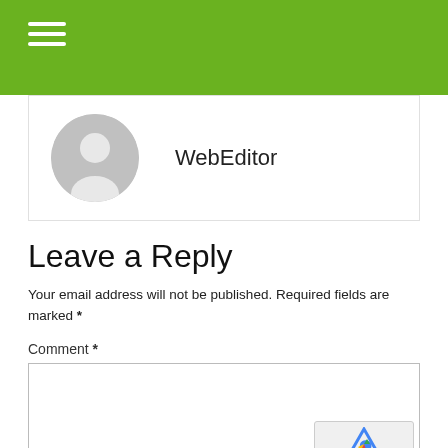WebEditor
Leave a Reply
Your email address will not be published. Required fields are marked *
Comment *